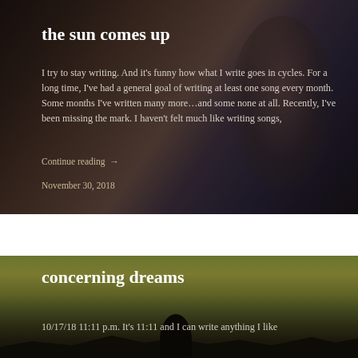[Figure (photo): Dark moody close-up photo of a person's face in shadow, brownish-dark tones forming the background of the first blog post card]
the sun comes up
I try to stay writing. And it’s funny how what I write goes in cycles. For a long time, I’ve had a general goal of writing at least one song every month. Some months I’ve written many more…and some none at all. Recently, I’ve been missing the mark. I haven’t felt much like writing songs,
Continue reading →
November 30, 2018
[Figure (photo): Dark landscape photo with yellowish-green sky gradient, silhouette of hills and a tree at the bottom, forming the background of the second blog post card]
concerning dreams
10/17/18 11:11 p.m. It’s 11:11 and I can write anything I like